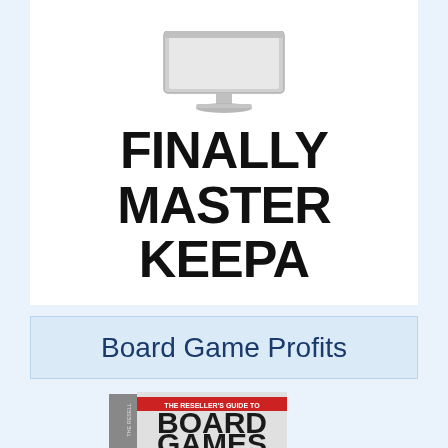[Figure (illustration): Computer monitor icon above bold black text reading FINALLY MASTER KEEPA on white background]
FINALLY MASTER KEEPA
Board Game Profits
[Figure (photo): Book cover showing 'The Reseller's Guide to Board Games' with large text BOARD GAMES partially visible]